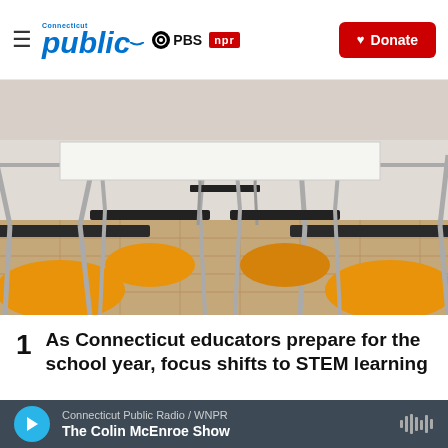Connecticut Public | PBS | NPR | Donate
[Figure (photo): Empty classroom with yellow chairs stacked or resting on dark desks with silver metal legs, tile floor, white walls in background]
1  As Connecticut educators prepare for the school year, focus shifts to STEM learning
Connecticut Public Radio / WNPR — The Colin McEnroe Show